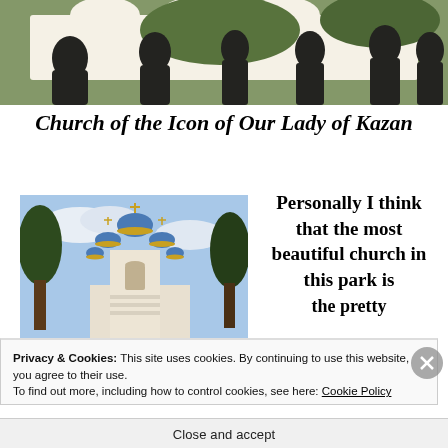[Figure (photo): Wide panoramic photo of people silhouetted in front of arched arcade/building exterior, sunny daytime]
Church of the Icon of Our Lady of Kazan
[Figure (photo): Photo of Russian Orthodox church with blue and gold onion domes, white bell tower, framed by trees]
Personally I think that the most beautiful church in this park is the pretty
Privacy & Cookies: This site uses cookies. By continuing to use this website, you agree to their use.
To find out more, including how to control cookies, see here: Cookie Policy
Close and accept